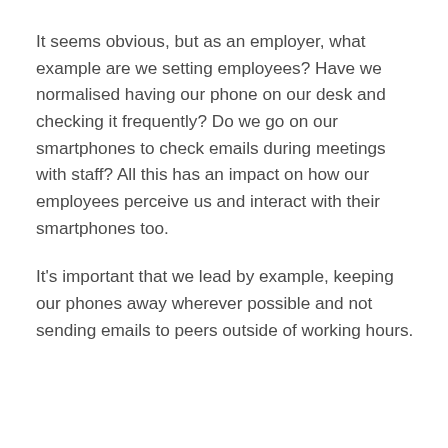It seems obvious, but as an employer, what example are we setting employees? Have we normalised having our phone on our desk and checking it frequently? Do we go on our smartphones to check emails during meetings with staff? All this has an impact on how our employees perceive us and interact with their smartphones too.
It's important that we lead by example, keeping our phones away wherever possible and not sending emails to peers outside of working hours.